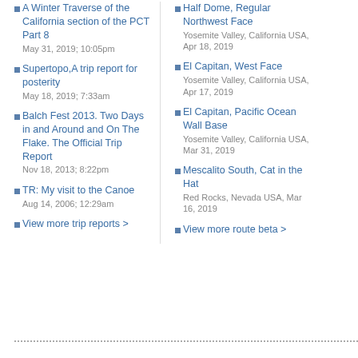A Winter Traverse of the California section of the PCT Part 8
May 31, 2019; 10:05pm
Supertopo,A trip report for posterity
May 18, 2019; 7:33am
Balch Fest 2013. Two Days in and Around and On The Flake. The Official Trip Report
Nov 18, 2013; 8:22pm
TR: My visit to the Canoe
Aug 14, 2006; 12:29am
View more trip reports >
Half Dome, Regular Northwest Face
Yosemite Valley, California USA, Apr 18, 2019
El Capitan, West Face
Yosemite Valley, California USA, Apr 17, 2019
El Capitan, Pacific Ocean Wall Base
Yosemite Valley, California USA, Mar 31, 2019
Mescalito South, Cat in the Hat
Red Rocks, Nevada USA, Mar 16, 2019
View more route beta >